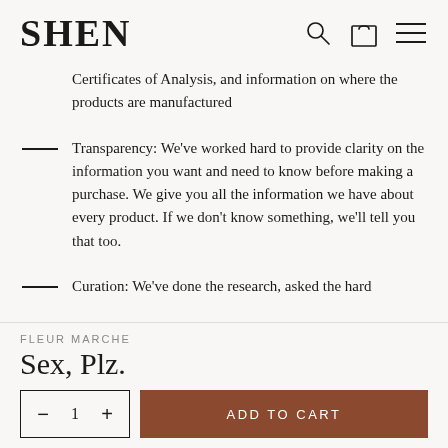SHEN
Certificates of Analysis, and information on where the products are manufactured
Transparency: We've worked hard to provide clarity on the information you want and need to know before making a purchase. We give you all the information we have about every product. If we don't know something, we'll tell you that too.
Curation: We've done the research, asked the hard
FLEUR MARCHE
Sex, Plz.
ADD TO CART